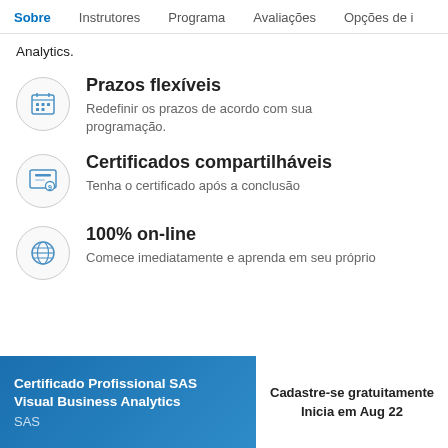Sobre | Instrutores | Programa | Avaliações | Opções de i
Analytics.
Prazos flexíveis
Redefinir os prazos de acordo com sua programação.
Certificados compartilháveis
Tenha o certificado após a conclusão
100% on-line
Comece imediatamente e aprenda em seu próprio
Certificado Profissional SAS Visual Business Analytics
SAS
Cadastre-se gratuitamente
Inicia em Aug 22